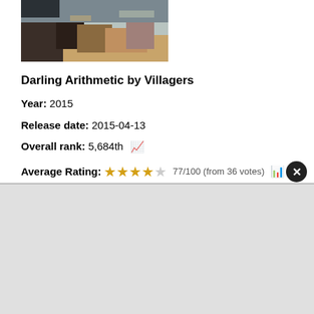[Figure (illustration): Partial album cover artwork for Darling Arithmetic by Villagers — a painterly landscape image showing figures and warm earth tones]
Darling Arithmetic by Villagers
Year: 2015
Release date: 2015-04-13
Overall rank: 5,684th
Average Rating: 77/100 (from 36 votes)
Accolades:
Top albums of 2015 (119th)
Top albums of the 2010s (1,091st)